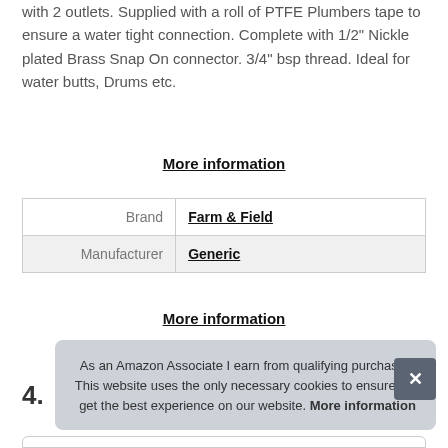with 2 outlets. Supplied with a roll of PTFE Plumbers tape to ensure a water tight connection. Complete with 1/2" Nickle plated Brass Snap On connector. 3/4" bsp thread. Ideal for water butts, Drums etc.
More information
| Brand | Farm & Field |
| Manufacturer | Generic |
More information
As an Amazon Associate I earn from qualifying purchases. This website uses the only necessary cookies to ensure you get the best experience on our website. More information
4.